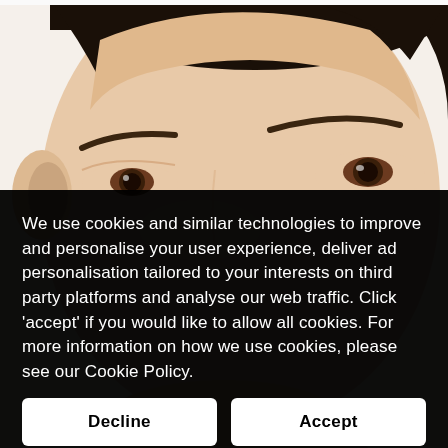[Figure (photo): Close-up photo of a person's face showing forehead, ear, eyebrows, and eyes with minimal makeup on a white background]
We use cookies and similar technologies to improve and personalise your user experience, deliver ad personalisation tailored to your interests on third party platforms and analyse our web traffic. Click ‘accept’ if you would like to allow all cookies. For more information on how we use cookies, please see our Cookie Policy.
Decline
Accept